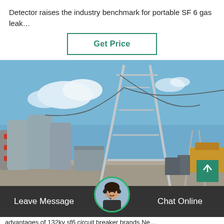Detector raises the industry benchmark for portable SF 6 gas leak…
[Figure (other): Green-bordered 'Get Price' button]
[Figure (photo): Outdoor electrical substation with large metal pipes, transformers, high-voltage transmission towers against a blue sky, and a construction area visible in the background]
[Figure (other): Bottom navigation bar with 'Leave Message' on left, customer service avatar in center, and 'Chat Online' on right]
advantages of 132kv sf6 circuit breaker brands Ne…